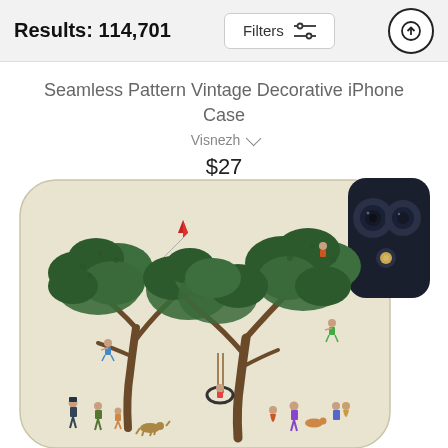Results: 114,701
Seamless Pattern Vintage Decorative iPhone Case
Visnezh
$27
[Figure (photo): iPhone case showing a vintage illustration of people playing around large decorative trees, with a red kite flying in the background. The phone case has a cream/beige background with detailed folk-art style imagery.]